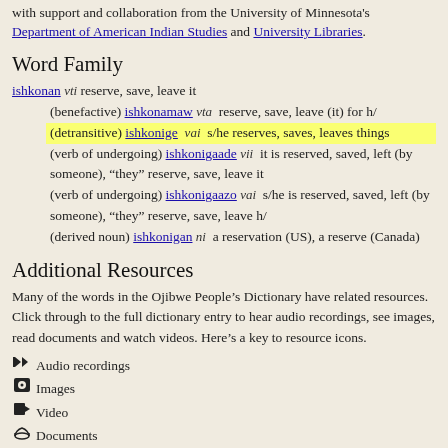with support and collaboration from the University of Minnesota's Department of American Indian Studies and University Libraries.
Word Family
ishkonan vti reserve, save, leave it
(benefactive) ishkonamaw vta reserve, save, leave (it) for h/
(detransitive) ishkonige vai s/he reserves, saves, leaves things
(verb of undergoing) ishkonigaade vii it is reserved, saved, left (by someone), “they” reserve, save, leave it
(verb of undergoing) ishkonigaazo vai s/he is reserved, saved, left (by someone), “they” reserve, save, leave h/
(derived noun) ishkonigan ni a reservation (US), a reserve (Canada)
Additional Resources
Many of the words in the Ojibwe People’s Dictionary have related resources. Click through to the full dictionary entry to hear audio recordings, see images, read documents and watch videos. Here’s a key to resource icons.
Audio recordings
Images
Video
Documents